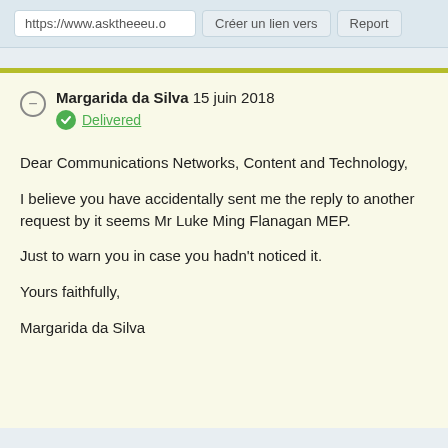[Figure (screenshot): Browser address bar showing https://www.asktheeu.o with buttons 'Créer un lien vers' and 'Report']
Margarida da Silva 15 juin 2018
Delivered
Dear Communications Networks, Content and Technology,

I believe you have accidentally sent me the reply to another request by it seems Mr Luke Ming Flanagan MEP.

Just to warn you in case you hadn't noticed it.

Yours faithfully,

Margarida da Silva